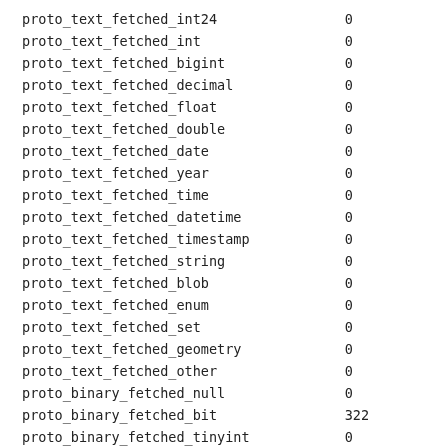| name | value |
| --- | --- |
| proto_text_fetched_int24 | 0 |
| proto_text_fetched_int | 0 |
| proto_text_fetched_bigint | 0 |
| proto_text_fetched_decimal | 0 |
| proto_text_fetched_float | 0 |
| proto_text_fetched_double | 0 |
| proto_text_fetched_date | 0 |
| proto_text_fetched_year | 0 |
| proto_text_fetched_time | 0 |
| proto_text_fetched_datetime | 0 |
| proto_text_fetched_timestamp | 0 |
| proto_text_fetched_string | 0 |
| proto_text_fetched_blob | 0 |
| proto_text_fetched_enum | 0 |
| proto_text_fetched_set | 0 |
| proto_text_fetched_geometry | 0 |
| proto_text_fetched_other | 0 |
| proto_binary_fetched_null | 0 |
| proto_binary_fetched_bit | 322 |
| proto_binary_fetched_tinyint | 0 |
| proto_binary_fetched_short | 3038 |